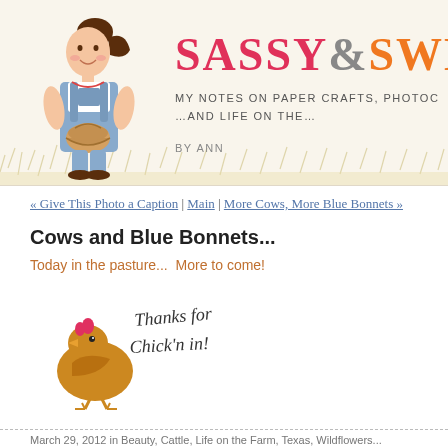[Figure (illustration): Blog header banner with illustrated cartoon girl holding a basket, meadow grass background, blog title 'SASSY & SWEET' in pink and orange text, subtitle 'My Notes on paper crafts, photo... ...and life on the...' and byline 'by Ann']
« Give This Photo a Caption | Main | More Cows, More Blue Bonnets »
Cows and Blue Bonnets...
Today in the pasture...  More to come!
[Figure (illustration): Cartoon chicken illustration with handwritten text 'Thanks for Chick'n in!']
March 29, 2012 in Beauty, Cattle, Life on the Farm, Texas, Wildflowers...